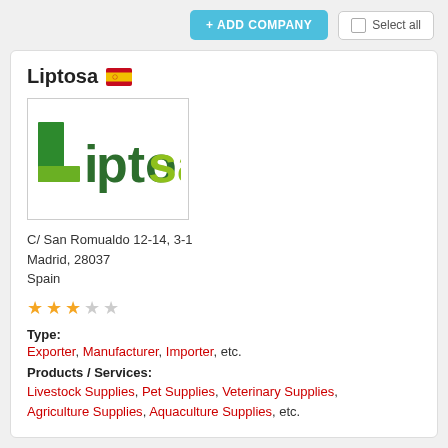[Figure (screenshot): Top bar with '+ ADD COMPANY' button and 'Select all' checkbox button]
Liptosa 🇪🇸
[Figure (logo): Liptosa company logo: green L block and dark green/yellow-green lettering spelling 'Liptosa']
C/ San Romualdo 12-14, 3-1
Madrid, 28037
Spain
[Figure (other): 3 filled yellow stars and 2 empty stars rating]
Type:
Exporter, Manufacturer, Importer, etc.
Products / Services:
Livestock Supplies, Pet Supplies, Veterinary Supplies, Agriculture Supplies, Aquaculture Supplies, etc.